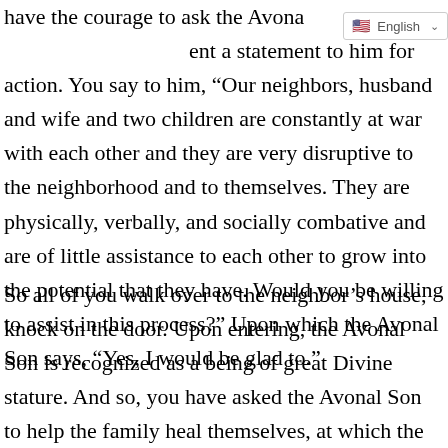[Figure (screenshot): Language selector dropdown showing US flag and 'English' label with a chevron arrow, positioned top-right]
have the courage to ask the Avonal Son to present a statement to him for action. You say to him, “Our neighbors, husband and wife and two children are constantly at war with each other and they are very disruptive to the neighborhood and to themselves. They are physically, verbally, and socially combative and are of little assistance to each other to grow into the potential that they have. Would you be willing to assist in this process?” Upon which the Avonal Son says, “Yes, I would be glad to.”
So all of you walk over to the neighbor’s house, knock on the door. Upon entering, the Avonal Son is recognized as a being of great Divine stature. And so, you have asked the Avonal Son to help the family heal themselves, at which the Avonal Son can